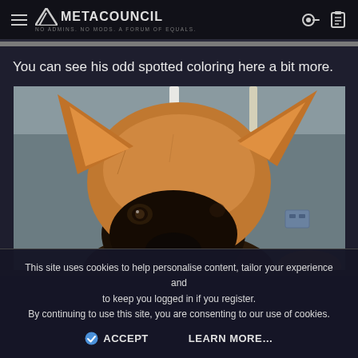METACOUNCIL — No admins. No mods. A forum of equals.
You can see his odd spotted coloring here a bit more.
[Figure (photo): Close-up photo of a dog's face (appears to be a German Shepherd mix) with tan/brown fur on top and dark black muzzle, looking upward slightly. Gray background with white vertical light fixture visible in upper portion.]
This site uses cookies to help personalise content, tailor your experience and to keep you logged in if you register. By continuing to use this site, you are consenting to our use of cookies.
ACCEPT   LEARN MORE...